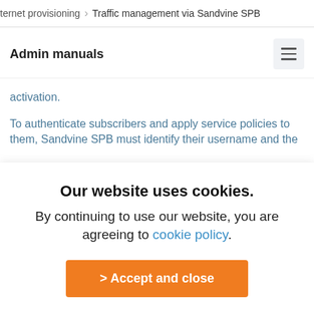ternet provisioning > Traffic management via Sandvine SPB
Admin manuals
activation.
To authenticate subscribers and apply service policies to them, Sandvine SPB must identify their username and the
Our website uses cookies.
By continuing to use our website, you are agreeing to cookie policy.
> Accept and close